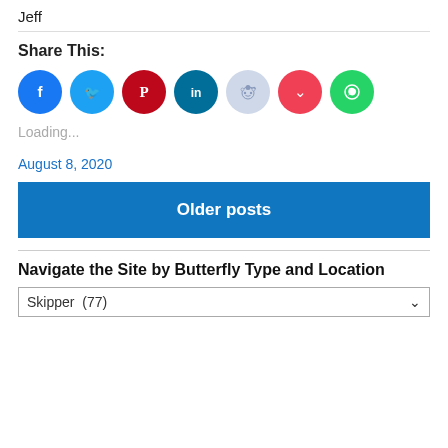Jeff
Share This:
[Figure (other): Row of social media share icon buttons: Facebook (blue), Twitter (light blue), Pinterest (red), LinkedIn (dark teal), Reddit (light grey/blue), Pocket (red), WhatsApp (green)]
Loading...
August 8, 2020
Older posts
Navigate the Site by Butterfly Type and Location
Skipper  (77)